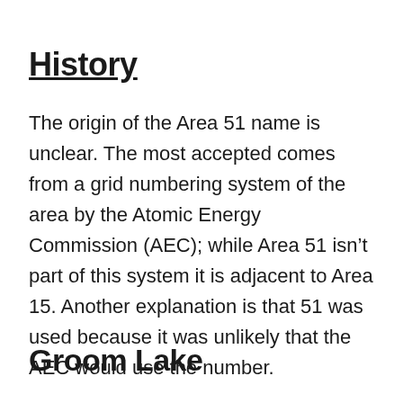History
The origin of the Area 51 name is unclear. The most accepted comes from a grid numbering system of the area by the Atomic Energy Commission (AEC); while Area 51 isn’t part of this system it is adjacent to Area 15. Another explanation is that 51 was used because it was unlikely that the AEC would use the number.
Groom Lake